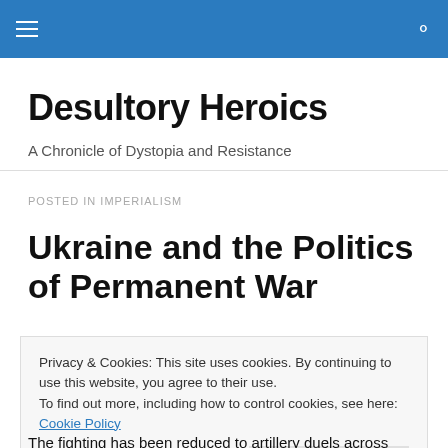≡  🔍
Desultory Heroics
A Chronicle of Dystopia and Resistance
POSTED IN IMPERIALISM
Ukraine and the Politics of Permanent War
Privacy & Cookies: This site uses cookies. By continuing to use this website, you agree to their use.
To find out more, including how to control cookies, see here: Cookie Policy

Close and accept
The fighting has been reduced to artillery duels across